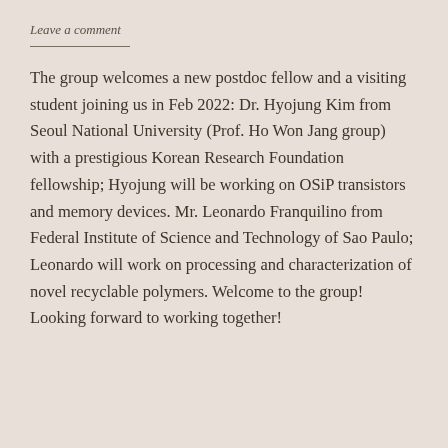Leave a comment
The group welcomes a new postdoc fellow and a visiting student joining us in Feb 2022: Dr. Hyojung Kim from Seoul National University (Prof. Ho Won Jang group) with a prestigious Korean Research Foundation fellowship; Hyojung will be working on OSiP transistors and memory devices. Mr. Leonardo Franquilino from Federal Institute of Science and Technology of Sao Paulo; Leonardo will work on processing and characterization of novel recyclable polymers. Welcome to the group! Looking forward to working together!